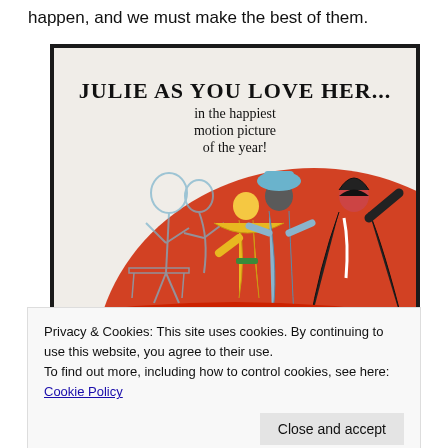happen, and we must make the best of them.
[Figure (photo): A vintage movie poster for a film featuring Julie, with illustration of characters in colorful costumes. Text reads 'JULIE AS YOU LOVE HER... in the happiest motion picture of the year!']
Privacy & Cookies: This site uses cookies. By continuing to use this website, you agree to their use.
To find out more, including how to control cookies, see here: Cookie Policy
Close and accept